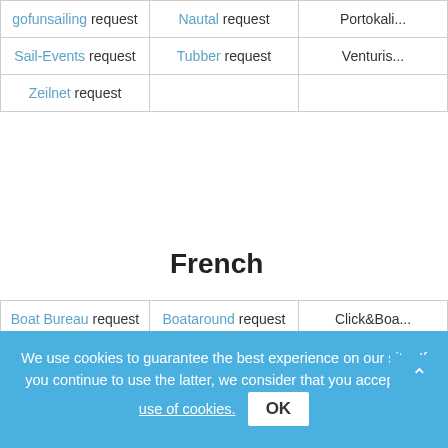|  |  |  |
| --- | --- | --- |
| gofunsailing request | Nautal request | Portokali request |
| Sail-Events request | Tubber request | Venturis request |
| Zeilnet request |  |  |
French
|  |  |  |
| --- | --- | --- |
| Boat Bureau request | Boataround request | Click&Boa... |
| FILOVENT request | Globe Sailor | Maritima... |
| Nautal d request | Sailogy request | Sailwithu... |
| SamBoat request | Skippair request | VoileEva... |
We use cookies to guarantee the best experience on our site. If you continue to use the latter, we consider that you accept the use of cookies.